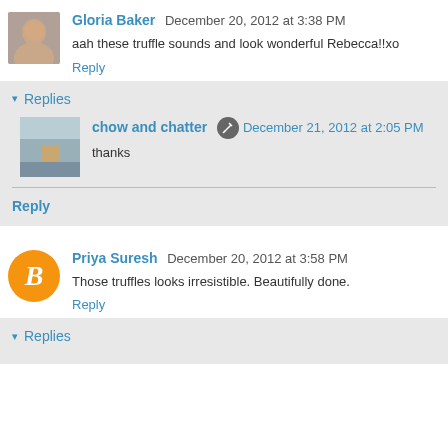Gloria Baker  December 20, 2012 at 3:38 PM
aah these truffle sounds and look wonderful Rebecca!!xo
Reply
Replies
chow and chatter  December 21, 2012 at 2:05 PM
thanks
Reply
Priya Suresh  December 20, 2012 at 3:58 PM
Those truffles looks irresistible. Beautifully done.
Reply
Replies